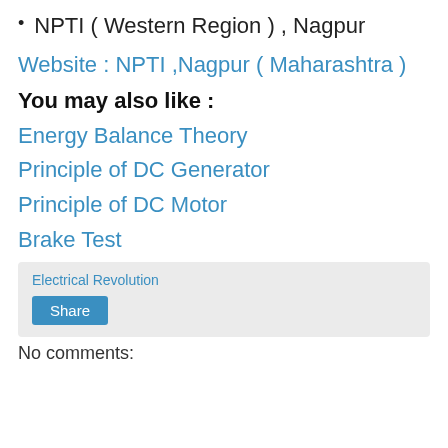NPTI ( Western Region ) , Nagpur
Website : NPTI ,Nagpur ( Maharashtra )
You may also like :
Energy Balance Theory
Principle of DC Generator
Principle of DC Motor
Brake Test
Electrical Revolution
Share
No comments: